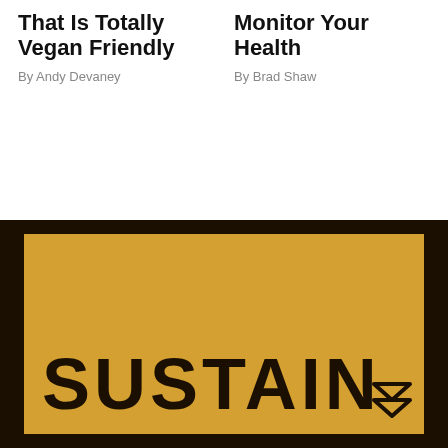That Is Totally Vegan Friendly
By Andy Devaney
Monitor Your Health
By Brad Shaw
[Figure (logo): SUSTAIN logo in large bold black text on a golden/amber yellow rectangular background, set within a dark brown/black outer background. The word 'SUSTAIN' is displayed in wide uppercase letters with a small double-chevron arrow icon at the bottom right.]